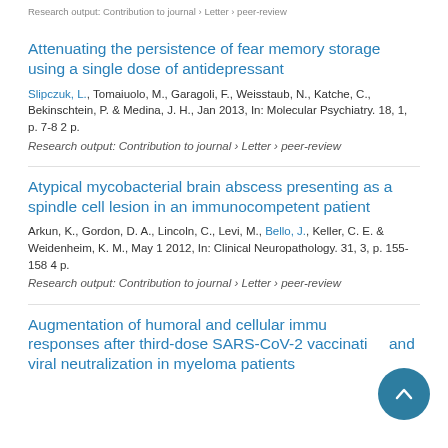Research output: Contribution to journal › Letter › peer-review
Attenuating the persistence of fear memory storage using a single dose of antidepressant
Slipczuk, L., Tomaiuolo, M., Garagoli, F., Weisstaub, N., Katche, C., Bekinschtein, P. & Medina, J. H., Jan 2013, In: Molecular Psychiatry. 18, 1, p. 7-8 2 p.
Research output: Contribution to journal › Letter › peer-review
Atypical mycobacterial brain abscess presenting as a spindle cell lesion in an immunocompetent patient
Arkun, K., Gordon, D. A., Lincoln, C., Levi, M., Bello, J., Keller, C. E. & Weidenheim, K. M., May 1 2012, In: Clinical Neuropathology. 31, 3, p. 155-158 4 p.
Research output: Contribution to journal › Letter › peer-review
Augmentation of humoral and cellular immune responses after third-dose SARS-CoV-2 vaccination and viral neutralization in myeloma patients